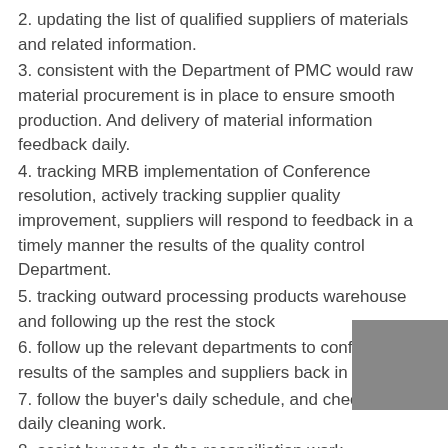2. updating the list of qualified suppliers of materials and related information.
3. consistent with the Department of PMC would raw material procurement is in place to ensure smooth production. And delivery of material information feedback daily.
4. tracking MRB implementation of Conference resolution, actively tracking supplier quality improvement, suppliers will respond to feedback in a timely manner the results of the quality control Department.
5. tracking outward processing products warehouse and following up the rest the stock
6. follow up the relevant departments to confirm the results of the samples and suppliers back in the day.
7. follow the buyer's daily schedule, and check our daily cleaning work.
8. assist buyer to do the reconciliation work.
9. obey the other tasks assigned by their superiors.